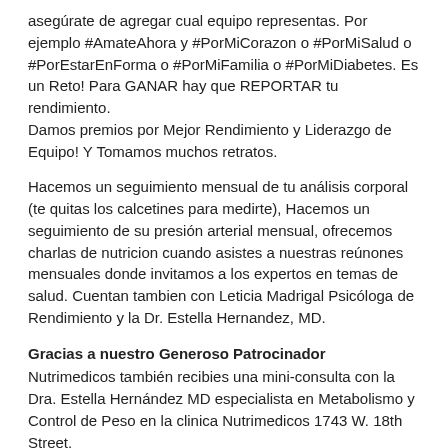asegúrate de agregar cual equipo representas. Por ejemplo #AmateAhora y #PorMiCorazon o #PorMiSalud o #PorEstarEnForma o #PorMiFamilia o #PorMiDiabetes. Es un Reto! Para GANAR hay que REPORTAR tu rendimiento.
Damos premios por Mejor Rendimiento y Liderazgo de Equipo! Y Tomamos muchos retratos.
Hacemos un seguimiento mensual de tu análisis corporal (te quitas los calcetines para medirte), Hacemos un seguimiento de su presión arterial mensual, ofrecemos charlas de nutricion cuando asistes a nuestras reúnones mensuales donde invitamos a los expertos en temas de salud. Cuentan tambien con Leticia Madrigal Psicóloga de Rendimiento y la Dr. Estella Hernandez, MD.
Gracias a nuestro Generoso Patrocinador
Nutrimedicos también recibies una mini-consulta con la Dra. Estella Hernández MD especialista en Metabolismo y Control de Peso en la clinica Nutrimedicos 1743 W. 18th Street.
Patricipas por 40 minutos con el entrenador Oscar Reyes de ZUMBA y gracias a Fernando Martinez CEO de MTZ MARTIAL ARTS ACADEMY en New City en el 2ndo piso tenemos su espacio fabuloso donde cuentan con nuestro asesoramiento, exámenes y ejercicio (trae zapatos de cardio)!